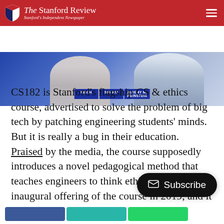The Stanford Review — Stanford's Independent Newspaper
[Figure (photo): Partial photo of people at a panel or event, with name badges visible reading REICH, SAHANI, JEREMY M. WEINSTEIN against a blue background]
CS182 is Stanford's flagship CS & ethics course, advertised to solve the problem of big tech by patching engineering students' minds. But it is really a bug in their education. Praised by the media, the course supposedly introduces a novel pedagogical method that teaches engineers to think ethically. I took the inaugural offering of the course in 2019, and it has since been codified as a means to fulfill ethics requirements for computer students